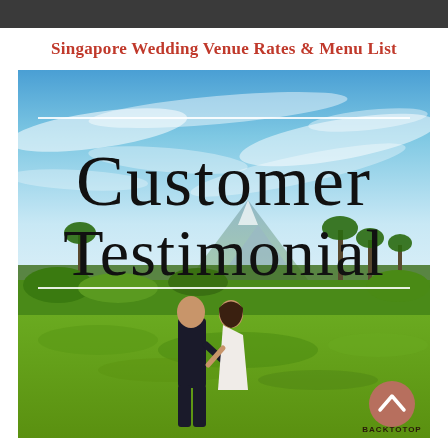Singapore Wedding Venue Rates & Menu List
[Figure (photo): Customer Testimonial - couple standing in green field with mountain and blue sky background. Text overlay reads 'Customer Testimonial' with white horizontal lines above and below the text. Back to top button visible in lower right corner.]